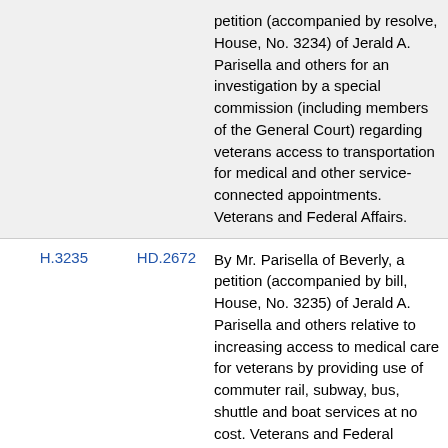| H | HD | Description |
| --- | --- | --- |
|  |  | petition (accompanied by resolve, House, No. 3234) of Jerald A. Parisella and others for an investigation by a special commission (including members of the General Court) regarding veterans access to transportation for medical and other service-connected appointments. Veterans and Federal Affairs. |
| H.3235 | HD.2672 | By Mr. Parisella of Beverly, a petition (accompanied by bill, House, No. 3235) of Jerald A. Parisella and others relative to increasing access to medical care for veterans by providing use of commuter rail, subway, bus, shuttle and boat services at no cost. Veterans and Federal Affairs. |
| H.4111 | HD.4506 | By Representative Parisella of Beverly and Senator Lovely, a joint |